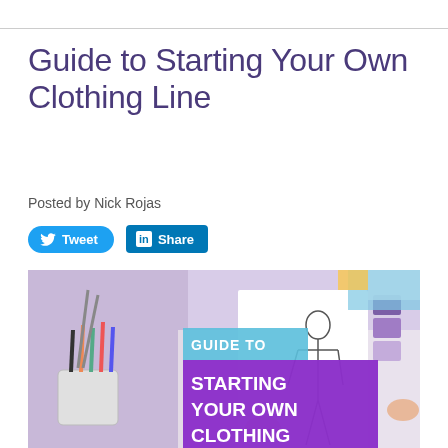Guide to Starting Your Own Clothing Line
Posted by Nick Rojas
[Figure (other): Social share buttons: Tweet (Twitter) and Share (LinkedIn)]
[Figure (photo): Hero image showing a fashion designer's desk with pencils, fabric swatches, and a hand holding a paper with a fashion sketch. Overlaid text reads: GUIDE TO STARTING YOUR OWN CLOTHING LINE in white on purple background.]